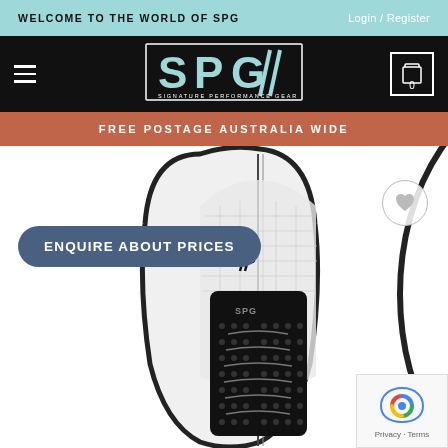WELCOME TO THE WORLD OF SPG   Login / Register
[Figure (logo): SPG Signature Performance Gear logo on black navigation bar with hamburger menu and cart icon showing 0]
FREE POSTAGE AUSTRALIA WIDE
ENQUIRE ABOUT PRICES
[Figure (photo): SPG surfboard product photo showing a surfboard with black traction pad and SPG logo, viewed from above, with a wishlist heart button and reCAPTCHA privacy badge]